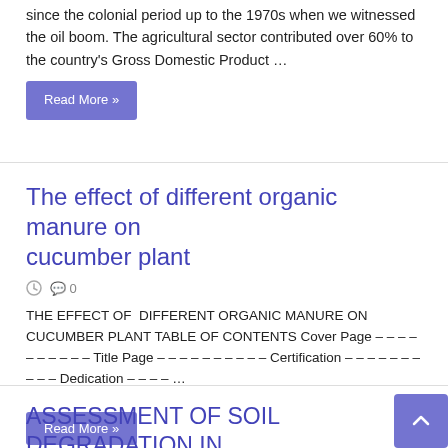since the colonial period up to the 1970s when we witnessed the oil boom. The agricultural sector contributed over 60% to the country's Gross Domestic Product …
Read More »
The effect of different organic manure on cucumber plant
🕐  💬 0
THE EFFECT OF  DIFFERENT ORGANIC MANURE ON CUCUMBER PLANT TABLE OF CONTENTS Cover Page – – – – – – – – – – Title Page – – – – – – – – – – Certification – – – – – – – – – – Dedication – – – – …
Read More »
ASSESSMENT OF SOIL DEGRADATION IN MAKURDI BENUE STATE